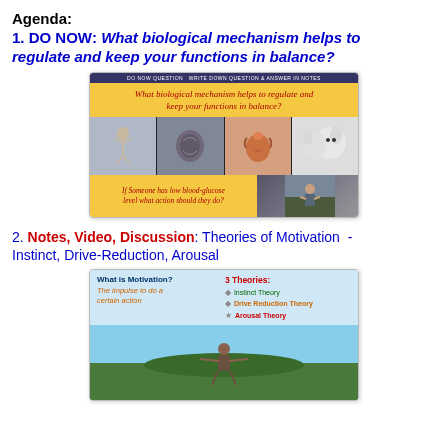Agenda:
1. DO NOW: What biological mechanism helps to regulate and keep your functions in balance?
[Figure (screenshot): Slide showing 'DO NOW QUESTION WRITE DOWN QUESTION & ANSWER IN NOTES' header, yellow background with italic text 'What biological mechanism helps to regulate and keep your functions in balance?', images of biological diagrams and white mice, and a yellow box asking 'If Someone has low blood-glucose level what action should they do?']
2. Notes, Video, Discussion: Theories of Motivation - Instinct, Drive-Reduction, Arousal
[Figure (screenshot): Slide showing 'What is Motivation? The impulse to do a certain action' on the left and '3 Theories: Instinct Theory, Drive Reduction Theory, Arousal Theory' on the right, with a photo of a person standing with arms raised on a hilltop]